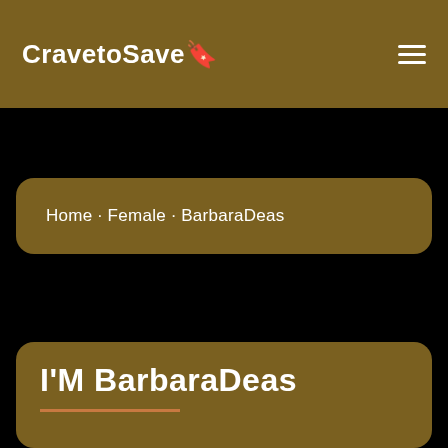CravetoSave🔖
Home · Female · BarbaraDeas
I'M BarbaraDeas